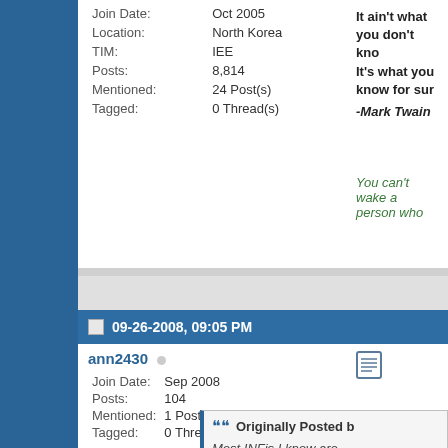| Join Date: | Oct 2005 |
| Location: | North Korea |
| TIM: | IEE |
| Posts: | 8,814 |
| Mentioned: | 24 Post(s) |
| Tagged: | 0 Thread(s) |
It ain't what you don't know. It's what you know for sure. -Mark Twain
You can't wake a person who...
09-26-2008, 09:05 PM
ann2430
| Join Date: | Sep 2008 |
| Posts: | 104 |
| Mentioned: | 1 Post(s) |
| Tagged: | 0 Thread(s) |
Originally Posted by
Most INFjs I know are enjoy seeing someone understanding. Areas w development, particula